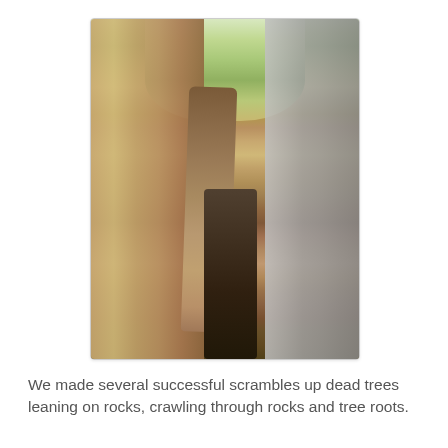[Figure (photo): A narrow rock crevice or canyon passage viewed from below. Tall sandstone rock walls close in on either side — warm orange-tan rock on the left, grey rock on the right. A gnarled tree root or dead tree leans diagonally across the gap. At the top of the crevice, green and yellow autumn foliage is visible against a bright sky. Boulders and shadows fill the narrow bottom of the passage.]
We made several successful scrambles up dead trees leaning on rocks, crawling through rocks and tree roots.